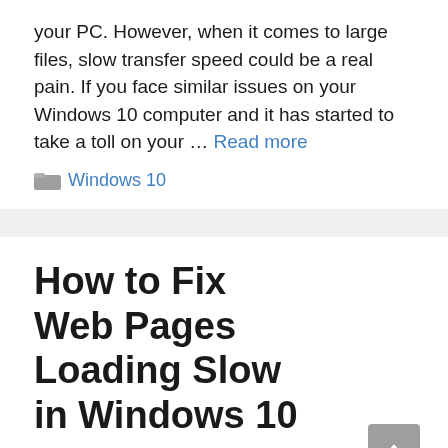your PC. However, when it comes to large files, slow transfer speed could be a real pain. If you face similar issues on your Windows 10 computer and it has started to take a toll on your … Read more
Windows 10
How to Fix Web Pages Loading Slow in Windows 10
November 26, 2020 by Sidney